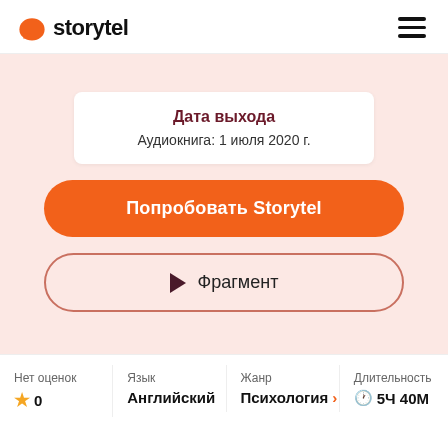storytel
Дата выхода
Аудиокнига: 1 июля 2020 г.
Попробовать Storytel
▶ Фрагмент
Нет оценок
★ 0
Язык
Английский
Жанр
Психология ›
Длительность
🕐 5Ч 40М